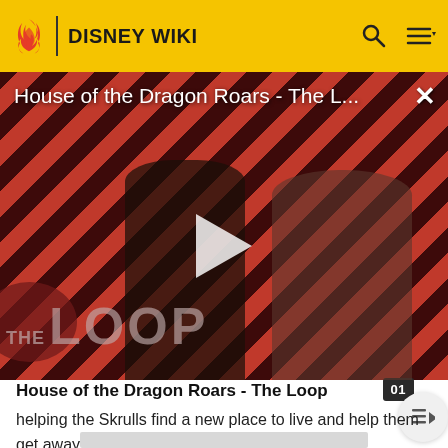DISNEY WIKI
[Figure (screenshot): Video thumbnail for 'House of the Dragon Roars - The Loop' showing two characters against a diagonal red and dark striped background with 'THE LOOP' logo overlay and a play button in center]
House of the Dragon Roars - The L...
House of the Dragon Roars - The Loop
helping the Skrulls find a new place to live and help them get away from the Kree Empire.